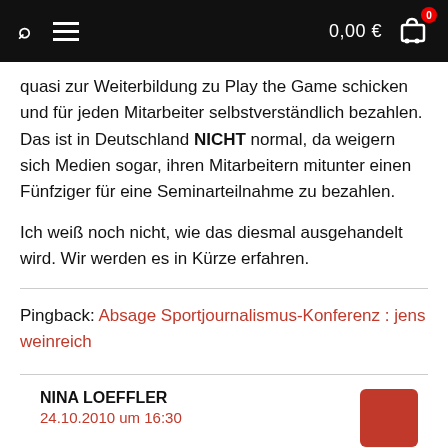0,00 €
quasi zur Weiterbildung zu Play the Game schicken und für jeden Mitarbeiter selbstverständlich bezahlen. Das ist in Deutschland NICHT normal, da weigern sich Medien sogar, ihren Mitarbeitern mitunter einen Fünfziger für eine Seminarteilnahme zu bezahlen.
Ich weiß noch nicht, wie das diesmal ausgehandelt wird. Wir werden es in Kürze erfahren.
Pingback: Absage Sportjournalismus-Konferenz : jens weinreich
NINA LOEFFLER
24.10.2010 um 16:30
ich fände es interessant, das brandaktuelle Thema Wetten